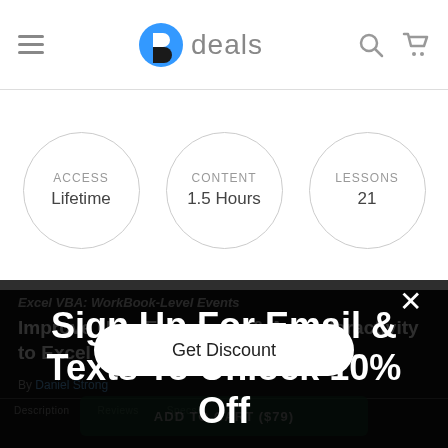deals
ACCESS Lifetime
CONTENT 1.5 Hours
LESSONS 21
Excel VBA: WorkBook-Level Events
Improve User Experience & Add Interactivity to Excel Workbooks
By Daniel Strong
Description   Reviews   Specs
Sign Up For Email & Texts To Unlock 10% Off
Get Discount
ADD TO CART ($79)